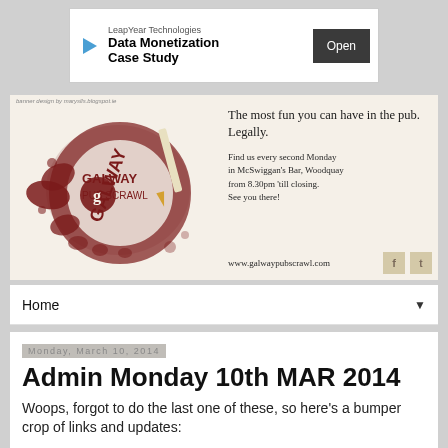[Figure (infographic): Advertisement banner for LeapYear Technologies Data Monetization Case Study with an Open button]
[Figure (infographic): Galway Pub Scrawl banner logo with tagline 'The most fun you can have in the pub. Legally.' and details about location, social icons, and website www.galwaypubscrawl.com]
Home
Monday, March 10, 2014
Admin Monday 10th MAR 2014
Woops, forgot to do the last one of these, so here's a bumper crop of links and updates: